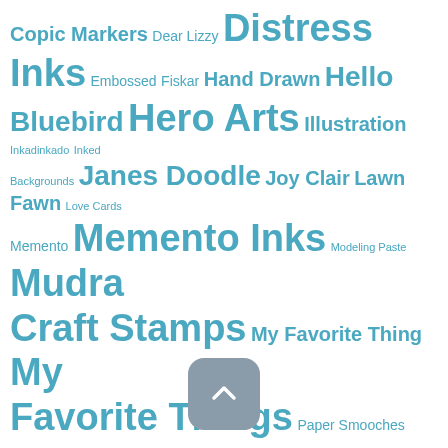[Figure (other): Tag cloud with craft/art supply brand names in varying font sizes, all in teal/blue color. Includes: Copic Markers, Dear Lizzy, Distress Inks, Embossed, Fiskar, Hand Drawn, Hello Bluebird, Hero Arts, Illustration, Inkadinkado, Inked Backgrounds, Janes Doodle, Joy Clair, Lawn Fawn, Love Cards, Memento, Memento Inks, Modeling Paste, Mudra Craft Stamps, My Favorite Thing, My Favorite Things, Paper Smooches, Penny Black, polychromos, Prisma Pencils, Simon Says Stamps, Studio Katia, Tim Holtz, Varada Sharma Designs, video, Waffle Flower, Waffle Flowers, Watercolored, We R Memory Keepers, WinnieWalter, WPlus9, Zig Marker. Also contains a scroll-up button overlay.]